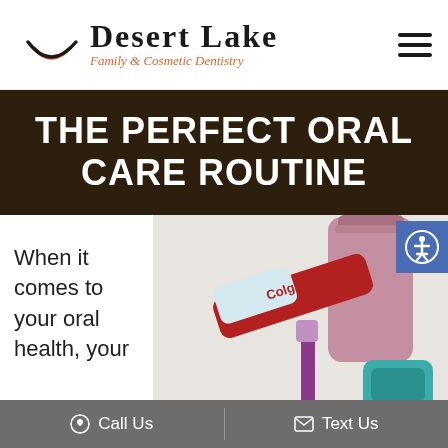Desert Lake Family & Cosmetic Dentistry
THE PERFECT ORAL CARE ROUTINE
When it comes to your oral health, your
[Figure (photo): Photo of dental hygiene products including a Colgate toothpaste tube, toothbrush, dental floss, and a pink mouthwash bottle on a white surface]
Call Us   Text Us